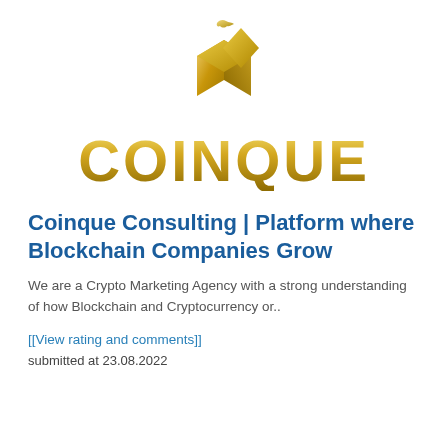[Figure (logo): Coinque logo: golden 3D cube/gem icon above large gold gradient text 'COINQUE']
Coinque Consulting | Platform where Blockchain Companies Grow
We are a Crypto Marketing Agency with a strong understanding of how Blockchain and Cryptocurrency or..
[[View rating and comments]]
submitted at 23.08.2022